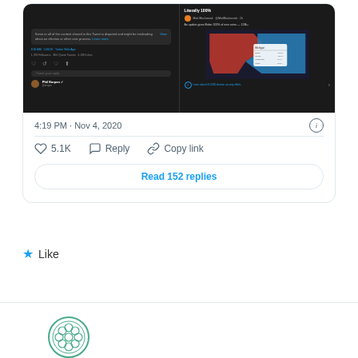[Figure (screenshot): Twitter/X tweet card showing two embedded screenshots: left side shows a Twitter warning label about disputed election content with tweet metadata, right side shows a tweet by Matt Mackowiak titled 'Literally 100%' claiming an update gives Biden 100% of new votes with a map of Michigan colored red and blue. Below the screenshots: timestamp '4:19 PM · Nov 4, 2020', like count '5.1K', Reply and Copy link buttons, and a 'Read 152 replies' button.]
Like
[Figure (logo): Circular ornamental logo with teal/green color and floral/geometric pattern, partially visible at bottom of page]